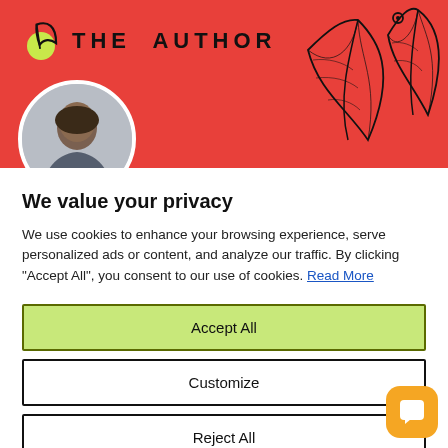[Figure (screenshot): Red banner header with 'THE AUTHOR' logo (feather pen icon with yellow-green circle), decorative leaf/floral line art on the right, and a circular author photo partially visible at the bottom left.]
We value your privacy
We use cookies to enhance your browsing experience, serve personalized ads or content, and analyze our traffic. By clicking "Accept All", you consent to our use of cookies. Read More
Accept All
Customize
Reject All